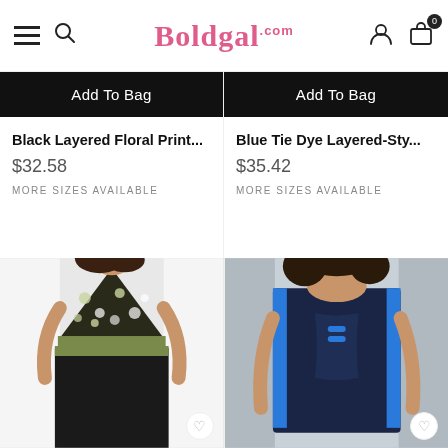Boldgal.com
[Figure (screenshot): Black Layered Floral Print swimwear product with Add To Bag button]
Black Layered Floral Print...
$32.58
MORE SIZES AVAILABLE
[Figure (screenshot): Blue Tie Dye Layered-Style swimwear product with Add To Bag button]
Blue Tie Dye Layered-Sty...
$35.42
MORE SIZES AVAILABLE
[Figure (photo): Woman wearing black and green floral print tankini swimsuit top with black bottom]
[Figure (photo): Woman wearing navy blue tankini with blue accent straps]